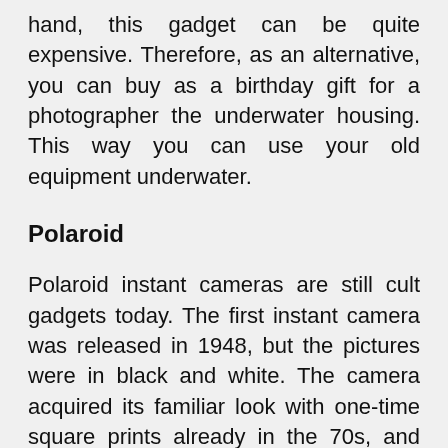hand, this gadget can be quite expensive. Therefore, as an alternative, you can buy as a birthday gift for a photographer the underwater housing. This way you can use your old equipment underwater.
Polaroid
Polaroid instant cameras are still cult gadgets today. The first instant camera was released in 1948, but the pictures were in black and white. The camera acquired its familiar look with one-time square prints already in the 70s, and the peak of the popularity of these cameras came in the 80s. The cartridge of